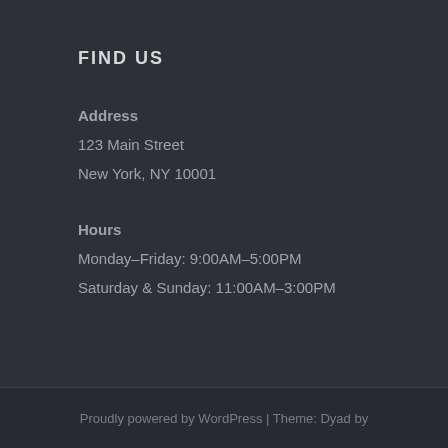FIND US
Address
123 Main Street
New York, NY 10001
Hours
Monday–Friday: 9:00AM–5:00PM
Saturday & Sunday: 11:00AM–3:00PM
Proudly powered by WordPress | Theme: Dyad by